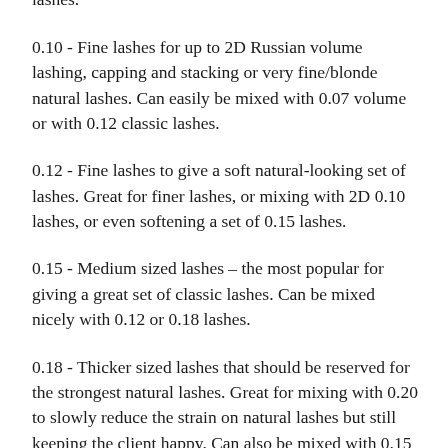capping and stacking or very fine/blonde natural lashes.
0.10 - Fine lashes for up to 2D Russian volume lashing, capping and stacking or very fine/blonde natural lashes. Can easily be mixed with 0.07 volume or with 0.12 classic lashes.
0.12 - Fine lashes to give a soft natural-looking set of lashes. Great for finer lashes, or mixing with 2D 0.10 lashes, or even softening a set of 0.15 lashes.
0.15 - Medium sized lashes – the most popular for giving a great set of classic lashes. Can be mixed nicely with 0.12 or 0.18 lashes.
0.18 - Thicker sized lashes that should be reserved for the strongest natural lashes. Great for mixing with 0.20 to slowly reduce the strain on natural lashes but still keeping the client happy. Can also be mixed with 0.15 to give a little more fullness.
0.20 - Thick lashes that should only be used on very strong natural lashes. Closely monitor to ensure there is no damage to long term health of natural lashes. They mix well with 0.18 for a slow